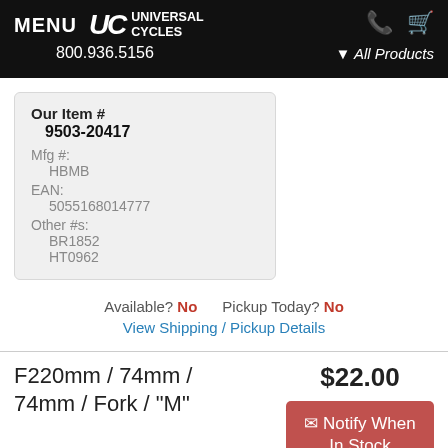MENU UC Universal Cycles 800.936.5156 All Products
| Field | Value |
| --- | --- |
| Our Item # | 9503-20417 |
| Mfg #: | HBMB |
| EAN: | 5055168014777 |
| Other #s: | BR1852, HT0962 |
Available? No    Pickup Today? No
View Shipping / Pickup Details
F220mm / 74mm / 74mm / Fork / "M"
$22.00
Notify When In Stock
+40mm